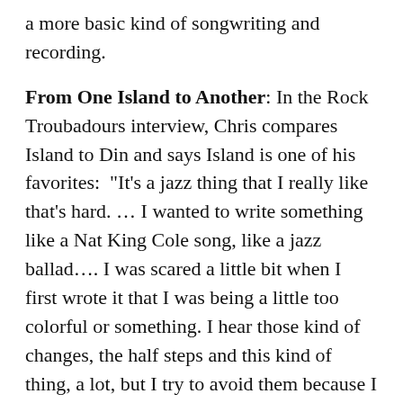a more basic kind of songwriting and recording.
From One Island to Another: In the Rock Troubadours interview, Chris compares Island to Din and says Island is one of his favorites:  "It's a jazz thing that I really like that's hard. … I wanted to write something like a Nat King Cole song, like a jazz ballad…. I was scared a little bit when I first wrote it that I was being a little too colorful or something. I hear those kind of changes, the half steps and this kind of thing, a lot, but I try to avoid them because I think I might alienate people or be too guitar-indulgent." "If I played those same voicings [in "Island"] in standard tuning or on an electric guitar, they'd get Holiday Inn-ish to me."
[Updates:
I forgot to include an Island anecdote from Donna McMillon. Chris told her that, flying from